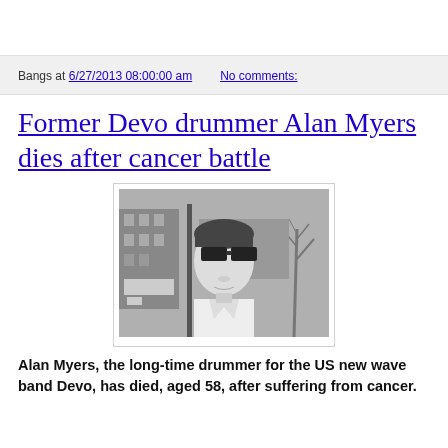Bangs at 6/27/2013 08:00:00 am    No comments:
Former Devo drummer Alan Myers dies after cancer battle
[Figure (photo): Black and white photo of a young man wearing large square sunglasses, looking upward, with buildings and bare trees in the background.]
Alan Myers, the long-time drummer for the US new wave band Devo, has died, aged 58, after suffering from cancer.